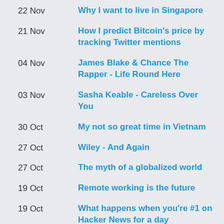22 Nov — Why I want to live in Singapore
21 Nov — How I predict Bitcoin's price by tracking Twitter mentions
04 Nov — James Blake & Chance The Rapper - Life Round Here
03 Nov — Sasha Keable - Careless Over You
30 Oct — My not so great time in Vietnam
27 Oct — Wiley - And Again
27 Oct — The myth of a globalized world
19 Oct — Remote working is the future
19 Oct — What happens when you're #1 on Hacker News for a day
14 Oct — Steve Summers - New Surroundings